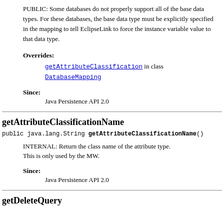PUBLIC: Some databases do not properly support all of the base data types. For these databases, the base data type must be explicitly specified in the mapping to tell EclipseLink to force the instance variable value to that data type.
Overrides:
getAttributeClassification in class DatabaseMapping
Since:
Java Persistence API 2.0
getAttributeClassificationName
public java.lang.String getAttributeClassificationName()
INTERNAL: Return the class name of the attribute type. This is only used by the MW.
Since:
Java Persistence API 2.0
getDeleteQuery